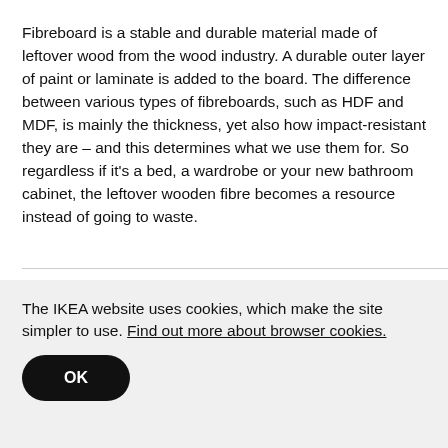Fibreboard is a stable and durable material made of leftover wood from the wood industry. A durable outer layer of paint or laminate is added to the board. The difference between various types of fibreboards, such as HDF and MDF, is mainly the thickness, yet also how impact-resistant they are – and this determines what we use them for. So regardless if it's a bed, a wardrobe or your new bathroom cabinet, the leftover wooden fibre becomes a resource instead of going to waste.
You might like
The IKEA website uses cookies, which make the site simpler to use. Find out more about browser cookies.